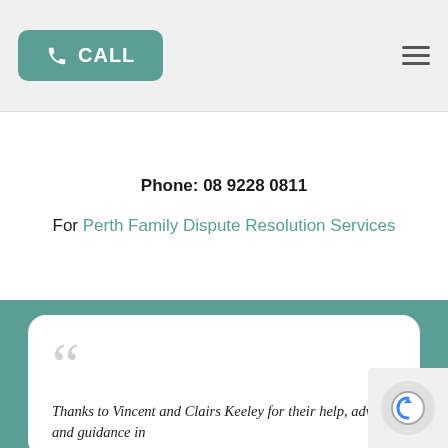CALL | Phone: 08 9228 0811 | For Perth Family Dispute Resolution Services
Phone: 08 9228 0811
For Perth Family Dispute Resolution Services
TESTIMONIALS
Thanks to Vincent and Clairs Keeley for their help, advice and guidance in